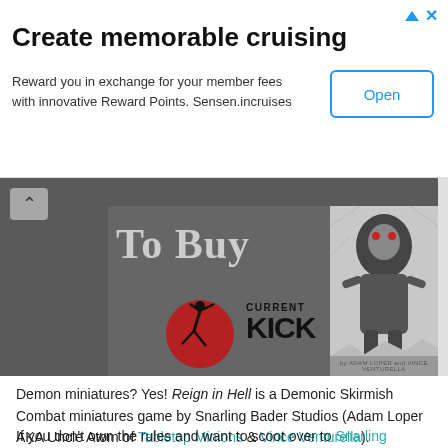Create memorable cruising
Reward you in exchange for your member fees with innovative Reward Points. Sensen.incruises
[Figure (screenshot): Advertisement banner with 'Create memorable cruising' heading, Open button, and ad icons]
[Figure (photo): Composite image showing 'To Buy' text overlay on dark background with red circle kicking silhouette and 'CURRENT KICK' text, plus a black and white monster/creature illustration credited to Adam Loper and Vince Venturella]
Demon miniatures? Yes! Reign in Hell is a Demonic Skirmish Combat miniatures game by Snarling Bader Studios (Adam Loper AKA Uncle Atom of Tabletop Minions & Vince Venturella).
If you don't own the rules and want to scoot over to Snarling Badger Studios or Wargame Vault and